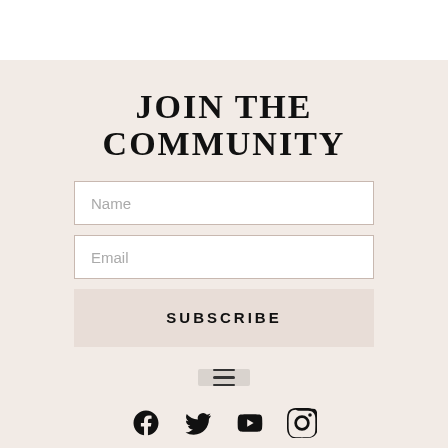JOIN THE COMMUNITY
[Figure (screenshot): A subscription form with Name input field, Email input field, and a SUBSCRIBE button]
[Figure (other): Hamburger menu icon button]
[Figure (other): Social media icons: Facebook, Twitter, YouTube, Instagram]
Copyright 2022 © Allrights Reserved. Design by